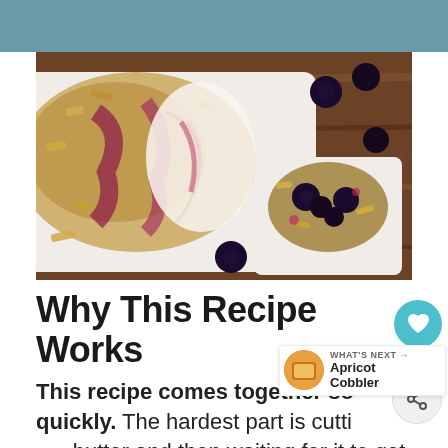[Figure (photo): Overhead shot of a berry crumble/crisp in a white baking dish on a wooden table, with a small white bowl serving on the side and fresh blackberries scattered on the table.]
Why This Recipe Works
This recipe comes together so quickly. The hardest part is cutting the butter and then waiting for it to get done baking.